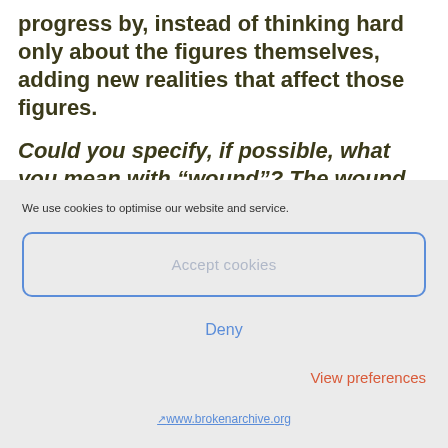progress by, instead of thinking hard only about the figures themselves, adding new realities that affect those figures.
Could you specify, if possible, what you mean with “wound”? The wound requires
We use cookies to optimise our website and service.
Accept cookies
Deny
View preferences
↗www.brokenarchive.org